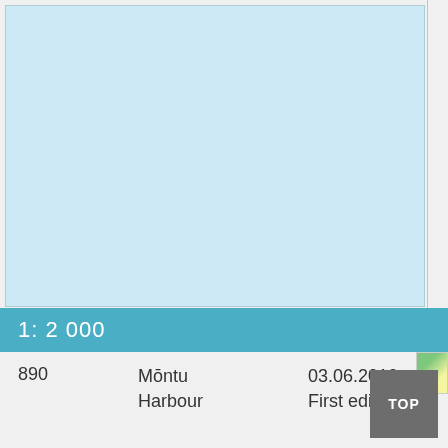[Figure (map): Nautical or topographic map area showing light blue water/terrain fill with border outline. Map of Mōntu Harbour area at scale 1:2000.]
1: 2 000
890
Mōntu Harbour
03.06.2010 First edition
[Figure (other): Small thumbnail image in bottom right of footer]
TOP